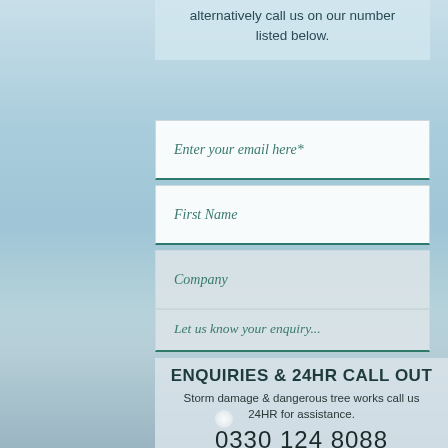alternatively call us on our number listed below.
Enter your email here*
First Name
Company
Let us know your enquiry...
ENQUIRIES & 24HR CALL OUT
Storm damage & dangerous tree works call us 24HR for assistance.
0330 124 8088